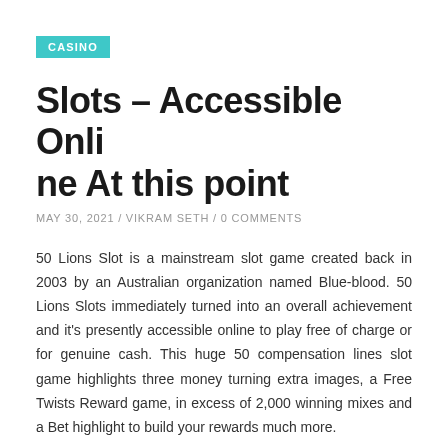CASINO
Slots – Accessible Online At this point
MAY 30, 2021 / VIKRAM SETH / 0 COMMENTS
50 Lions Slot is a mainstream slot game created back in 2003 by an Australian organization named Blue-blood. 50 Lions Slots immediately turned into an overall achievement and it's presently accessible online to play free of charge or for genuine cash. This huge 50 compensation lines slot game highlights three money turning extra images, a Free Twists Reward game, in excess of 2,000 winning mixes and a Bet highlight to build your rewards much more.